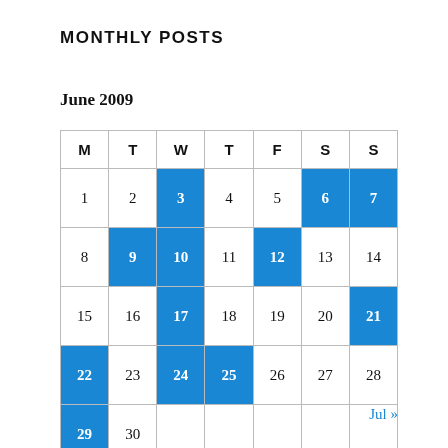MONTHLY POSTS
June 2009
| M | T | W | T | F | S | S |
| --- | --- | --- | --- | --- | --- | --- |
| 1 | 2 | 3 | 4 | 5 | 6 | 7 |
| 8 | 9 | 10 | 11 | 12 | 13 | 14 |
| 15 | 16 | 17 | 18 | 19 | 20 | 21 |
| 22 | 23 | 24 | 25 | 26 | 27 | 28 |
| 29 | 30 |  |  |  |  |  |
« May    Jul »